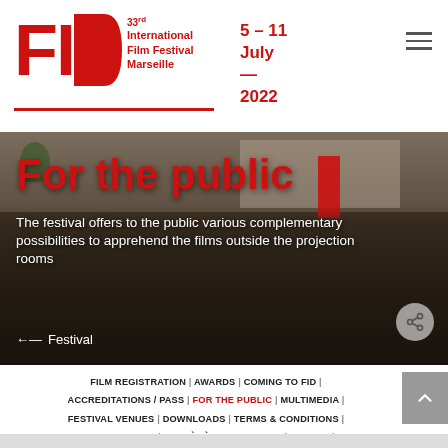FID 33rd International Film Festival Marseille | 5 – 11 July — 2022
[Figure (photo): Crowd of festival attendees at FID Marseille, outdoor venue with stone walls and red banners, aerial view]
For the public
The festival offers to the public various complementary possibilities to apprehend the films outside the projection rooms
← Festival
FILM REGISTRATION | AWARDS | COMING TO FID | ACCREDITATIONS / PASS | FOR THE PUBLIC | MULTIMEDIA | FESTIVAL VENUES | DOWNLOADS | TERMS & CONDITIONS | MASTERCLASSE | PALMARÈS EDITION-2022 | FID 2021 | HEALTH PROTOCOL | CLOSING CEREMONY | HEALTH PROVISIONS | CATALOGUE TO DOWNLOAD | FID 2022 | ONLINE TICKETING | FIDBACK